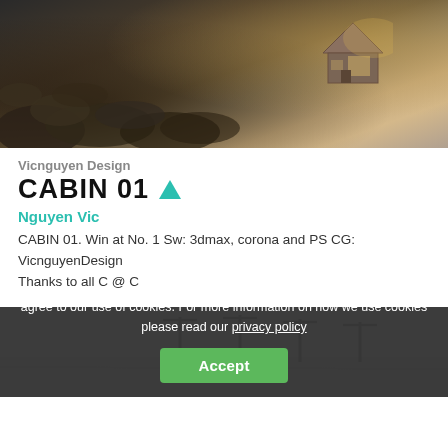[Figure (photo): Architectural photograph of a small wooden cabin situated on a rocky coastal hillside at golden hour, with dramatic sky in the background.]
Vicnguyen Design
CABIN 01
Nguyen Vic
CABIN 01. Win at No. 1 Sw: 3dmax, corona and PS CG: VicnguyenDesign Thanks to all C @ C
[Figure (photo): Partial view of a grey landscape photograph with street lights visible against an overcast sky.]
We use cookies on our website. By continuing to browse our website, you agree to our use of cookies. For more information on how we use cookies please read our privacy policy
Accept